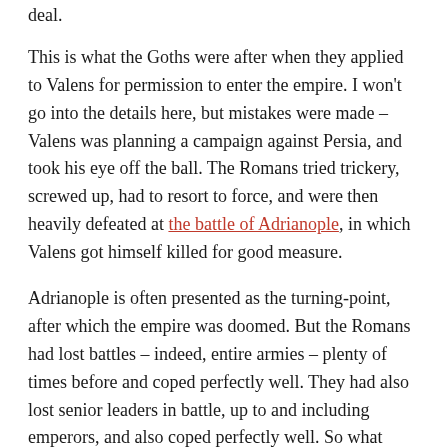deal.
This is what the Goths were after when they applied to Valens for permission to enter the empire. I won't go into the details here, but mistakes were made – Valens was planning a campaign against Persia, and took his eye off the ball. The Romans tried trickery, screwed up, had to resort to force, and were then heavily defeated at the battle of Adrianople, in which Valens got himself killed for good measure.
Adrianople is often presented as the turning-point, after which the empire was doomed. But the Romans had lost battles – indeed, entire armies – plenty of times before and coped perfectly well. They had also lost senior leaders in battle, up to and including emperors, and also coped perfectly well. So what went wrong?
As with most things that go wrong, it seems to have been a